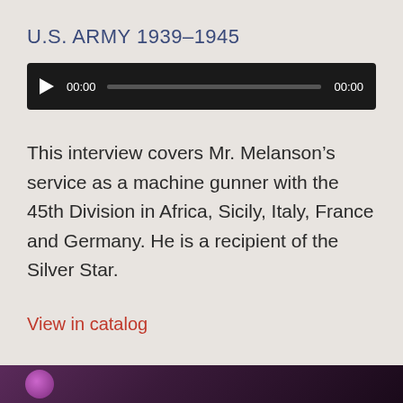U.S. ARMY 1939–1945
[Figure (other): Audio player with play button, time counter showing 00:00, progress bar, and end time 00:00]
This interview covers Mr. Melanson's service as a machine gunner with the 45th Division in Africa, Sicily, Italy, France and Germany. He is a recipient of the Silver Star.
View in catalog
[Figure (photo): Partial image at bottom of page showing a dark background with purple/violet circular element on the left]